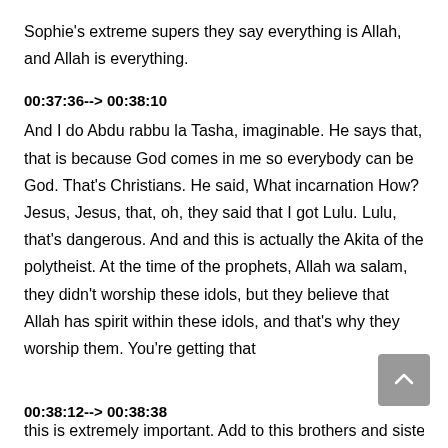Sophie's extreme supers they say everything is Allah, and Allah is everything.
00:37:36--> 00:38:10
And I do Abdu rabbu la Tasha, imaginable. He says that, that is because God comes in me so everybody can be God. That's Christians. He said, What incarnation How? Jesus, Jesus, that, oh, they said that I got Lulu. Lulu, that's dangerous. And and this is actually the Akita of the polytheist. At the time of the prophets, Allah wa salam, they didn't worship these idols, but they believe that Allah has spirit within these idols, and that's why they worship them. You're getting that
00:38:12--> 00:38:38
this is extremely important. Add to this brothers and sisters in Islam